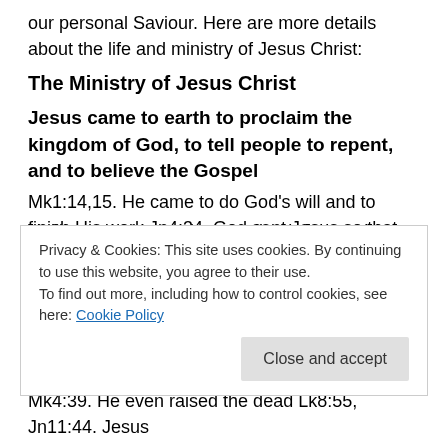our personal Saviour.  Here are more details about the life and ministry of Jesus Christ:
The Ministry of Jesus Christ
Jesus came to earth to proclaim the kingdom of God, to tell people to repent, and to believe the Gospel Mk1:14,15.  He came to do God's will and to finish His work Jn4:34.  God sent Jesus so that by believing in Him, we would not perish in hell but have everlasting life Jn3:16.  Jesus came to save us from our sins Mt1:21.
Unlike any person who ever lived, Jesus also had
Privacy & Cookies: This site uses cookies. By continuing to use this website, you agree to their use.
To find out more, including how to control cookies, see here: Cookie Policy
Mk4:39.  He even raised the dead Lk8:55, Jn11:44.  Jesus